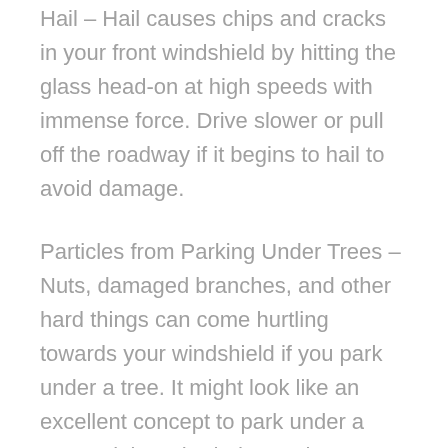Hail – Hail causes chips and cracks in your front windshield by hitting the glass head-on at high speeds with immense force. Drive slower or pull off the roadway if it begins to hail to avoid damage.
Particles from Parking Under Trees – Nuts, damaged branches, and other hard things can come hurtling towards your windshield if you park under a tree. It might look like an excellent concept to park under a tree as it is a shaded area, however, this leaves your windscreen vulnerable to falling items. To prevent chips or cracks, think about leaving